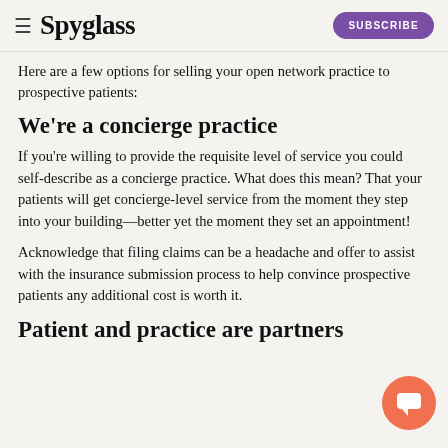Spyglass | SUBSCRIBE
Here are a few options for selling your open network practice to prospective patients:
We're a concierge practice
If you're willing to provide the requisite level of service you could self-describe as a concierge practice. What does this mean? That your patients will get concierge-level service from the moment they step into your building—better yet the moment they set an appointment!
Acknowledge that filing claims can be a headache and offer to assist with the insurance submission process to help convince prospective patients any additional cost is worth it.
Patient and practice are partners